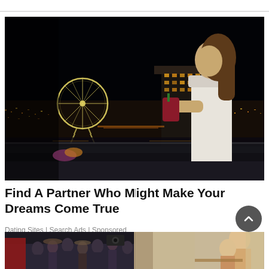[Figure (photo): Woman in white dress holding a cocktail on a rooftop bar at night with Singapore city skyline and Ferris wheel in background]
Find A Partner Who Might Make Your Dreams Come True
Dating Sites | Search Ads | Sponsored
[Figure (photo): Bottom strip showing two partial photos: left shows a crowd scene with people outdoors, right shows a woman with a child indoors]